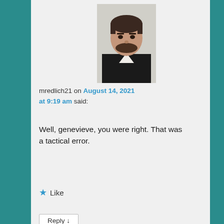[Figure (photo): Profile photo of user mredlich21 — man in dark jacket with beard]
mredlich21 on August 14, 2021 at 9:19 am said:
Well, genevieve, you were right. That was a tactical error.
★ Like
Reply ↓
[Figure (photo): Profile photo of user Genevieve Woods — dark abstract image]
Genevieve Woods on August 14, 2021 at 9:21 am
Advertisements
[Figure (photo): Victoria's Secret advertisement banner: woman with curly hair on left, VS logo, SHOP THE COLLECTION text, SHOP NOW button]